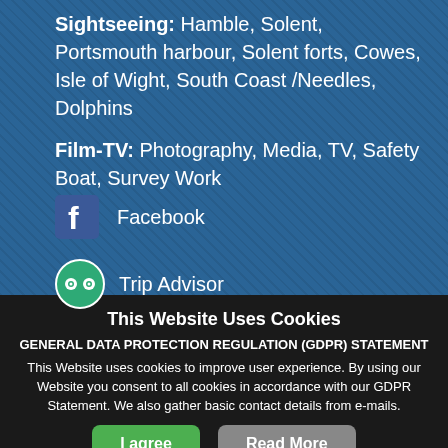Sightseeing: Hamble, Solent, Portsmouth harbour, Solent forts, Cowes, Isle of Wight, South Coast /Needles, Dolphins
Film-TV: Photography, Media, TV, Safety Boat, Survey Work
[Figure (logo): Facebook logo icon (white 'f' on blue square)]
Facebook
[Figure (logo): TripAdvisor owl eyes logo in green circle]
Trip Advisor
This Website Uses Cookies
GENERAL DATA PROTECTION REGULATION (GDPR) STATEMENT This Website uses cookies to improve user experience. By using our Website you consent to all cookies in accordance with our GDPR Statement. We also gather basic contact details from e-mails.
I agree
Read More